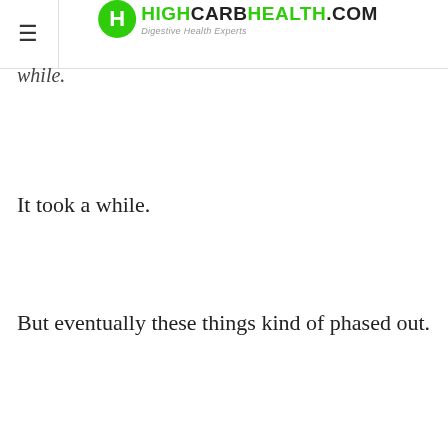HIGHCARBHEALTH.COM — Digestive Health Experts
while.
It took a while.
But eventually these things kind of phased out.